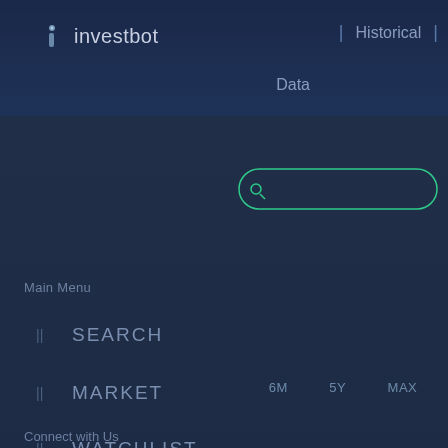investbot | Historical Data
Main Menu
SEARCH
MARKET
WATCHLIST
NOTIFICATIONS
HOW IT WORKS
Connect with Us